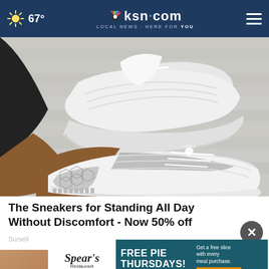67° ksn.com LOCAL NEWS · HERE FOR YOU
[Figure (photo): Close-up photo of white and grey mesh sneakers being worn by a person with dark skin, shown on a light grey wooden floor surface.]
The Sneakers for Standing All Day Without Discomfort - Now 50% off
Sursell
[Figure (infographic): Spear's Restaurant & Pie Shop advertisement banner with teal background. Shows logo, 'FREE PIE THURSDAYS!', phone number 316-943-2783, 'Get a free slice with every meal purchase', 'CLICK HERE for more info', and a photo of pie.]